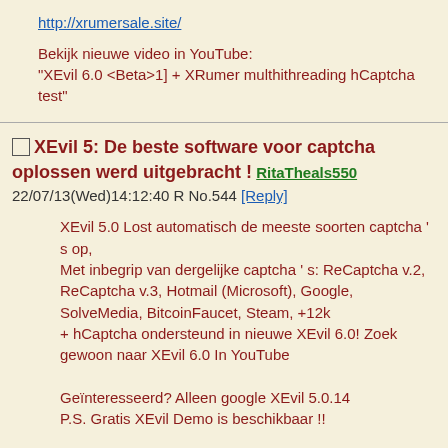http://xrumersale.site/
Bekijk nieuwe video in YouTube:
"XEvil 6.0 <Beta>1] + XRumer multhithreading hCaptcha test"
XEvil 5: De beste software voor captcha oplossen werd uitgebracht ! RitaTheals550 22/07/13(Wed)14:12:40 R No.544 [Reply]
XEvil 5.0 Lost automatisch de meeste soorten captcha ' s op,
Met inbegrip van dergelijke captcha ' s: ReCaptcha v.2, ReCaptcha v.3, Hotmail (Microsoft), Google, SolveMedia, BitcoinFaucet, Steam, +12k
+ hCaptcha ondersteund in nieuwe XEvil 6.0! Zoek gewoon naar XEvil 6.0 In YouTube

Geïnteresseerd? Alleen google XEvil 5.0.14
P.S. Gratis XEvil Demo is beschikbaar !!

Ook is er een enorme korting beschikbaar voor aankoop tot 30 juli: -30%!
Stand-alone volledige licentie van XEvil prijs is slechts 59